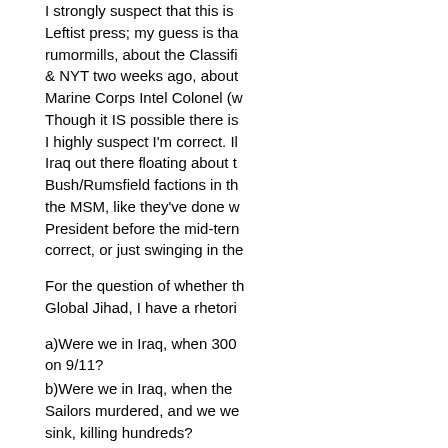I strongly suspect that this is Leftist press; my guess is that rumormills, about the Classifi & NYT two weeks ago, about Marine Corps Intel Colonel (w Though it IS possible there is I highly suspect I'm correct. Il Iraq out there floating about t Bush/Rumsfield factions in th the MSM, like they've done w President before the mid-tern correct, or just swinging in the
For the question of whether th Global Jihad, I have a rhetori
a)Were we in Iraq, when 300 on 9/11?
b)Were we in Iraq, when the Sailors murdered, and we we sink, killing hundreds?
c)Were we in Iraq, when the bombed, killing hundreds of i
d)Were we in Iraq, when the